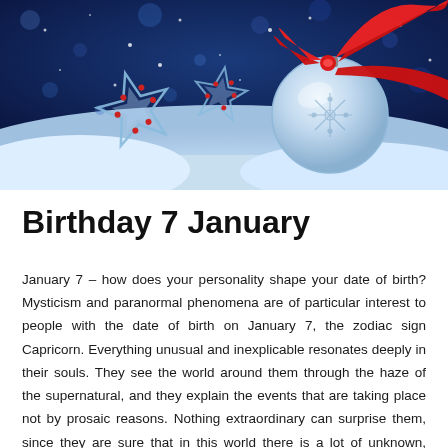[Figure (photo): Christmas holiday photo showing sparkling star ornaments and a silver ball ornament with a red ribbon bow, set against a snowy background with blue bokeh lights]
Birthday 7 January
January 7 – how does your personality shape your date of birth? Mysticism and paranormal phenomena are of particular interest to people with the date of birth on January 7, the zodiac sign Capricorn. Everything unusual and inexplicable resonates deeply in their souls. They see the world around them through the haze of the supernatural, and they explain the events that are taking place not by prosaic reasons. Nothing extraordinary can surprise them, since they are sure that in this world there is a lot of unknown, about